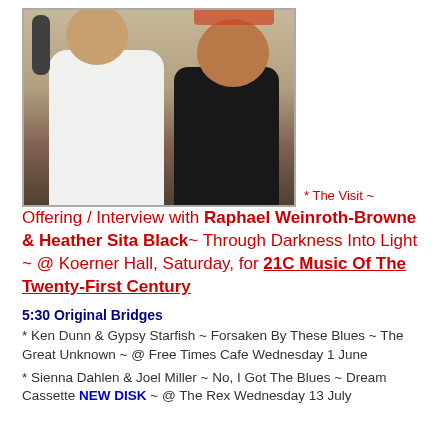[Figure (photo): Two people smiling together in what appears to be a radio studio or recording space — a woman in a white sleeveless top and a man in a dark graphic t-shirt leaning in.]
* The Visit ~ Offering / Interview with Raphael Weinroth-Browne & Heather Sita Black~ Through Darkness Into Light ~ @ Koerner Hall, Saturday, for 21C Music Of The Twenty-First Century
5:30 Original Bridges
* Ken Dunn & Gypsy Starfish ~ Forsaken By These Blues ~ The Great Unknown ~ @ Free Times Cafe Wednesday 1 June
* Sienna Dahlen & Joel Miller ~ No, I Got The Blues ~ Dream Cassette NEW DISK ~ @ The Rex Wednesday 13 July